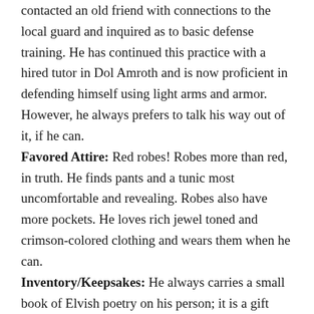contacted an old friend with connections to the local guard and inquired as to basic defense training. He has continued this practice with a hired tutor in Dol Amroth and is now proficient in defending himself using light arms and armor. However, he always prefers to talk his way out of it, if he can.
Favored Attire: Red robes! Robes more than red, in truth. He finds pants and a tunic most uncomfortable and revealing. Robes also have more pockets. He loves rich jewel toned and crimson-colored clothing and wears them when he can.
Inventory/Keepsakes: He always carries a small book of Elvish poetry on his person; it is a gift received as a young boy, from his older sister.
General: He is tall, well-spoken, clearly educated, and holds himself with perfect posture. However, he